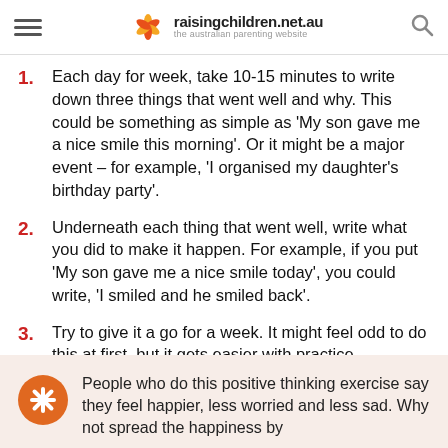raisingchildren.net.au — the australian parenting website
Each day for week, take 10-15 minutes to write down three things that went well and why. This could be something as simple as 'My son gave me a nice smile this morning'. Or it might be a major event – for example, 'I organised my daughter's birthday party'.
Underneath each thing that went well, write what you did to make it happen. For example, if you put 'My son gave me a nice smile today', you could write, 'I smiled and he smiled back'.
Try to give it a go for a week. It might feel odd to do this at first, but it gets easier with practice.
People who do this positive thinking exercise say they feel happier, less worried and less sad. Why not spread the happiness by